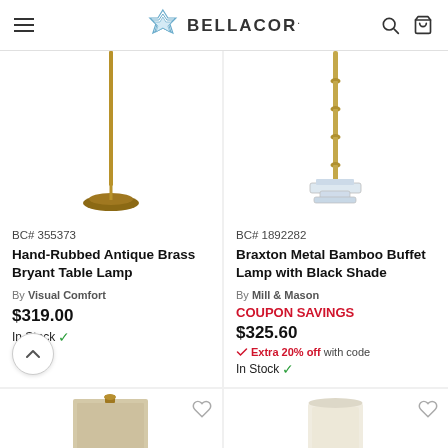BELLACOR
[Figure (photo): Hand-rubbed antique brass lamp pole with round base, cropped top]
BC# 355373
Hand-Rubbed Antique Brass Bryant Table Lamp
By Visual Comfort
$319.00
In Stock ✓
[Figure (photo): Metal bamboo-style buffet lamp with crystal/acrylic base, cropped top]
BC# 1892282
Braxton Metal Bamboo Buffet Lamp with Black Shade
By Mill & Mason
COUPON SAVINGS
$325.60
Extra 20% off with code
In Stock ✓
[Figure (photo): Table lamp with beige square shade, partial bottom view]
[Figure (photo): Table lamp with white cylindrical shade, partial bottom view]